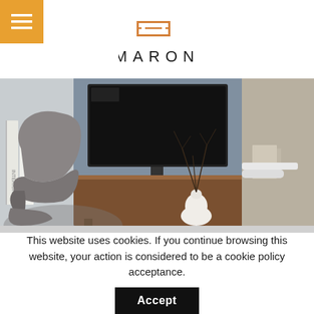[Figure (logo): Emarone logo with orange stylized double-E symbol above text 'EMARONE' in dark letters]
[Figure (photo): Interior room photo showing a modern living space with a gray reclining chair, wall-mounted flat screen TV, wooden media console/sideboard, white vase with branches, and books on a shelf. Color palette is muted blues, grays and wood tones.]
This website uses cookies. If you continue browsing this website, your action is considered to be a cookie policy acceptance.
Accept